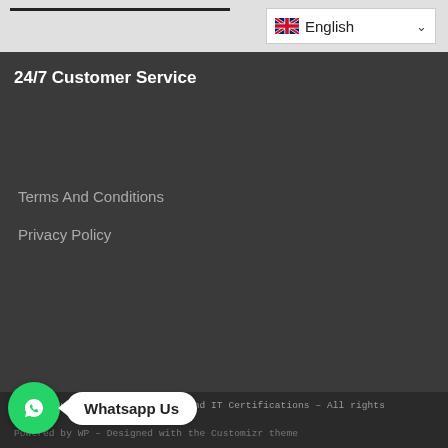[Figure (screenshot): Top navigation bar with dark horizontal line and English language selector with UK flag and dropdown arrow]
24/7 Customer Service
Terms And Conditions
Privacy Policy
© 2022 Buy Project Management And IT Certifications – All rights reserved
Powered by WP – Designed with the Customizr theme
[Figure (infographic): WhatsApp contact button: green circle with WhatsApp phone icon and white speech bubble saying 'Whatsapp Us']